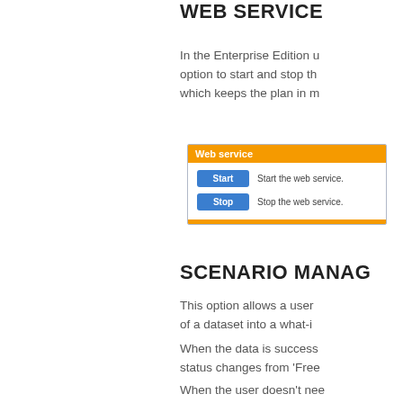WEB SERVICE
In the Enterprise Edition u... option to start and stop th... which keeps the plan in m...
[Figure (screenshot): UI panel showing 'Web service' section with orange header bar, a Start button with label 'Start the web service.' and a Stop button with label 'Stop the web service.']
SCENARIO MANAG...
This option allows a user... of a dataset into a what-i...
When the data is success... status changes from 'Free...
When the user doesn't nee... scenario any more, it can... again.